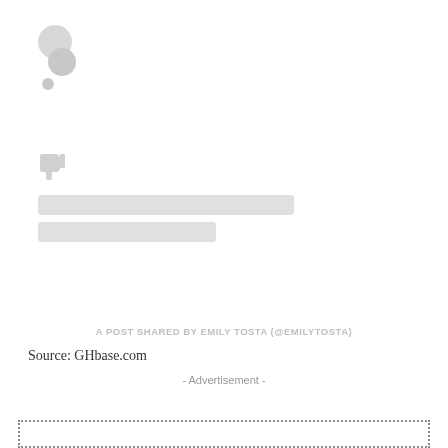[Figure (screenshot): Social media post placeholder with gray avatar circles and a thumbs down icon, plus two gray loading bars]
A POST SHARED BY EMILY TOSTA (@EMILYTOSTA)
Source: GHbase.com
- Advertisement -